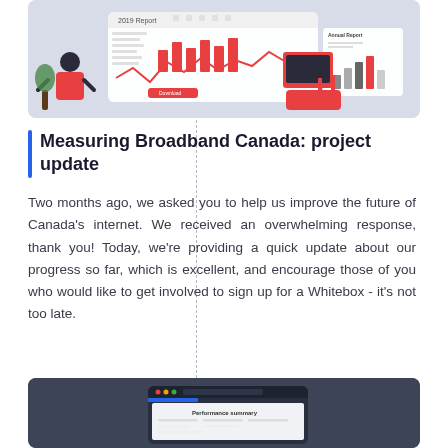[Figure (illustration): Illustration of a person sitting at a computer viewing a 2019 Report dashboard with analytics charts and download button, alongside a bar chart report graphic on a light blue/grey background.]
Measuring Broadband Canada: project update
Two months ago, we asked you to help us improve the future of Canada's internet. We received an overwhelming response, thank you! Today, we're providing a quick update about our progress so far, which is excellent, and encourage those of you who would like to get involved to sign up for a Whitebox - it's not too late.
[Figure (screenshot): Screenshot of a dark-themed web interface showing a performance summary dashboard, partially visible at the bottom of the page.]